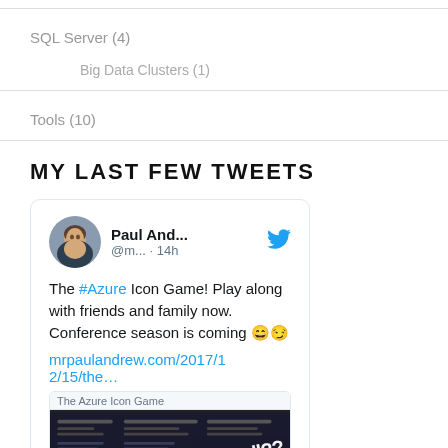SQL Server (4)
Big Data Clusters (1)
Tools (10)
MY LAST FEW TWEETS
[Figure (screenshot): Tweet card from Paul And... (@m...) posted 14h ago. Text: The #Azure Icon Game! Play along with friends and family now. Conference season is coming 😄😏 mrpaulandrew.com/2017/12/15/the... with a preview of 'The Azure Icon Game' page.]